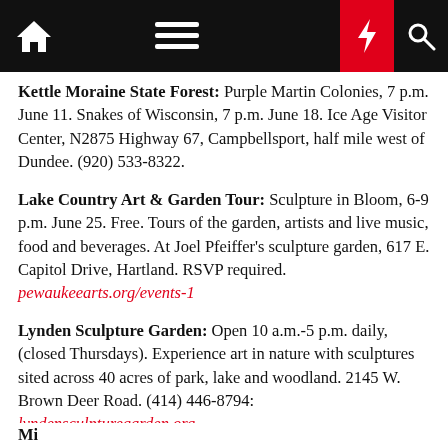Navigation bar with home, menu, dark mode, lightning/breaking, and search icons
Kettle Moraine State Forest: Purple Martin Colonies, 7 p.m. June 11. Snakes of Wisconsin, 7 p.m. June 18. Ice Age Visitor Center, N2875 Highway 67, Campbellsport, half mile west of Dundee. (920) 533-8322.
Lake Country Art & Garden Tour: Sculpture in Bloom, 6-9 p.m. June 25. Free. Tours of the garden, artists and live music, food and beverages. At Joel Pfeiffer's sculpture garden, 617 E. Capitol Drive, Hartland. RSVP required. pewaukeearts.org/events-1
Lynden Sculpture Garden: Open 10 a.m.-5 p.m. daily, (closed Thursdays). Experience art in nature with sculptures sited across 40 acres of park, lake and woodland. 2145 W. Brown Deer Road. (414) 446-8794: lyndensculpturegarden.org
Mi... (partially visible)